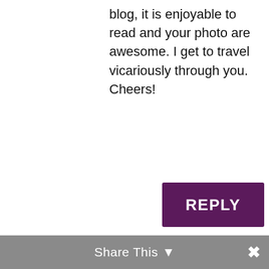blog, it is enjoyable to read and your photo are awesome. I get to travel vicariously through you. Cheers!
REPLY
[Figure (logo): Rusty Travel Trunk circular stamp logo with compass rose in center, text reading RUSTY TRAVEL TRUNK and CUBICLE ESCAPE ARTIST around the border]
Kendra on September 28, 2016 at 12:16 pm
Hey Robyn! Glad to hear you're enjoying the posts and photos!! Thanks so much for the kind words 🙂
REPLY
Share This ✕